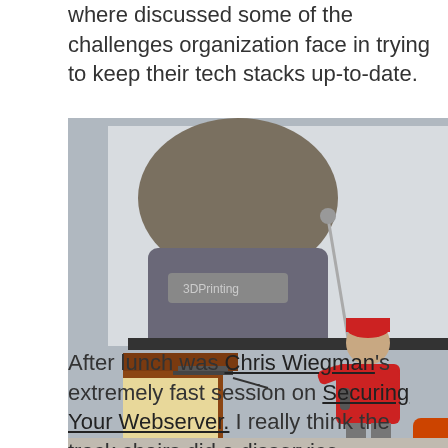where discussed some of the challenges organization face in trying to keep their tech stacks up-to-date.
[Figure (photo): Conference presentation photo: a large projected image of a man on screen behind a speaker in a red shirt holding a microphone at a podium, with another person bending down in the foreground.]
After lunch was Chris Wiegman's extremely fast session on Securing Your Webserver.  I really think the track chairs did a disservice relegating Chris' presentation to an 8-minute lightning